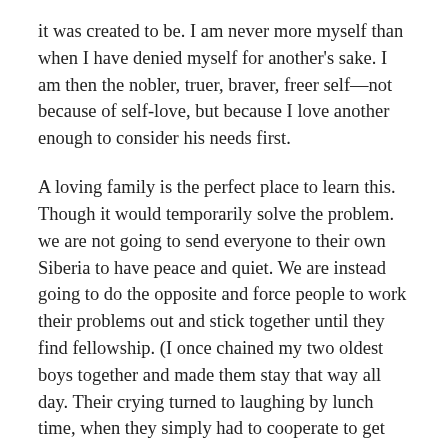it was created to be. I am never more myself than when I have denied myself for another's sake. I am then the nobler, truer, braver, freer self—not because of self-love, but because I love another enough to consider his needs first.
A loving family is the perfect place to learn this. Though it would temporarily solve the problem. we are not going to send everyone to their own Siberia to have peace and quiet. We are instead going to do the opposite and force people to work their problems out and stick together until they find fellowship. (I once chained my two oldest boys together and made them stay that way all day. Their crying turned to laughing by lunch time, when they simply had to cooperate to get any eating accomplished. I have no idea how they managed the bathroom.) I can't say that I know the secret to living well in close quarters, as we are still struggling quite a bit with our selfish natures. But, somehow in the confined space in which we find ourselves, better, truer and nobler people are being forged. Whatever solution you may come